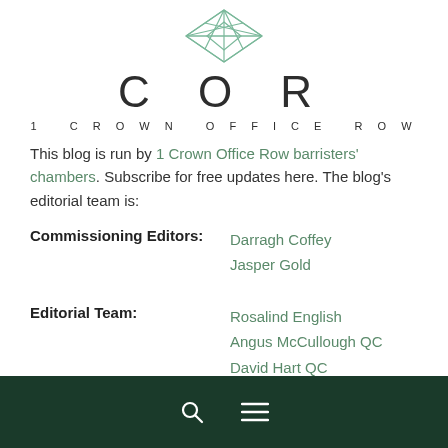[Figure (logo): 1 Crown Office Row geometric star/diamond logo in light green outline]
COR
1 CROWN OFFICE ROW
This blog is run by 1 Crown Office Row barristers' chambers. Subscribe for free updates here. The blog's editorial team is:
| Role | Names |
| --- | --- |
| Commissioning Editors: | Darragh Coffey
Jasper Gold |
| Editorial Team: | Rosalind English
Angus McCullough QC
David Hart QC
Martin Downs
Jim Duffy
Jonathan Metzer |
Search and menu navigation bar